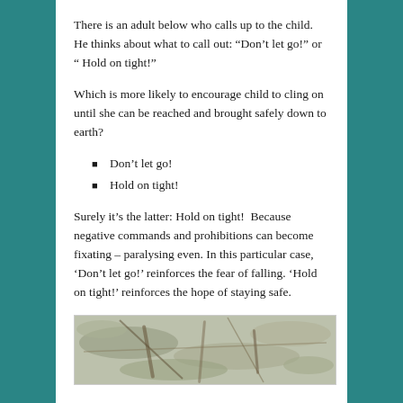There is an adult below who calls up to the child. He thinks about what to call out: “Don’t let go!” or “ Hold on tight!”
Which is more likely to encourage child to cling on until she can be reached and brought safely down to earth?
Don’t let go!
Hold on tight!
Surely it’s the latter: Hold on tight!  Because negative commands and prohibitions can become fixating – paralysing even. In this particular case, ‘Don’t let go!’ reinforces the fear of falling. ‘Hold on tight!’ reinforces the hope of staying safe.
[Figure (photo): A close-up photograph of branches or twigs covered with lichen or moss, with muted green, grey and brown tones.]